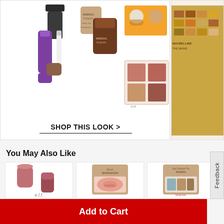[Figure (photo): Cosmetic products including concealers and eyeshadow palette from Mineral Fusion brand in a shop-this-look card]
SHOP THIS LOOK >
[Figure (photo): Partial view of makeup palette product on right side card]
You May Also Like
[Figure (photo): e.l.f. lip product - pink/mauve lip stick and cap]
[Figure (photo): Mineral Fusion blush product - Marrakesh shade]
[Figure (photo): Mineral Fusion Eye Shadow Trio - Rivera shade]
Add to Cart
Feedback